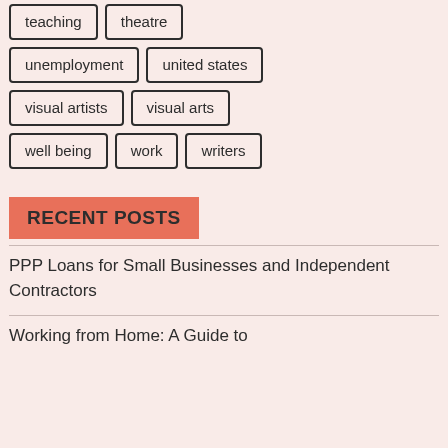teaching
theatre
unemployment
united states
visual artists
visual arts
well being
work
writers
RECENT POSTS
PPP Loans for Small Businesses and Independent Contractors
Working from Home: A Guide to